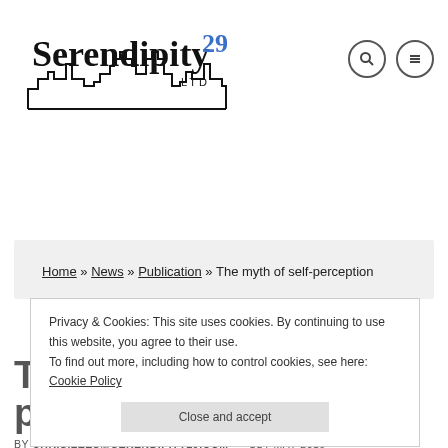[Figure (logo): Serendipity29 LTD logo with cityscape silhouette and search/menu icons in header]
Home » News » Publication » The myth of self-perception
Privacy & Cookies: This site uses cookies. By continuing to use this website, you agree to their use. To find out more, including how to control cookies, see here: Cookie Policy
Close and accept
The myth of self-perception
BY CHRIS.LEES@SERENDIPITY29.COM • 1ST MAY 2018 • PUBLICATION